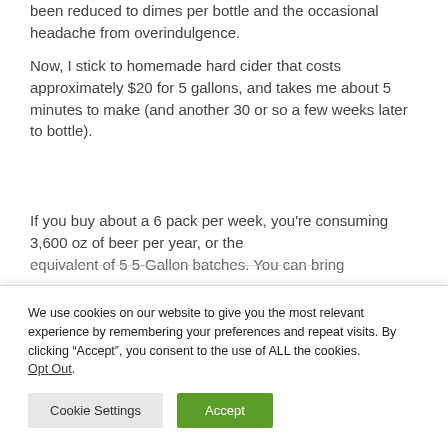been reduced to dimes per bottle and the occasional headache from overindulgence.
Now, I stick to homemade hard cider that costs approximately $20 for 5 gallons, and takes me about 5 minutes to make (and another 30 or so a few weeks later to bottle).
If you buy about a 6 pack per week, you’re consuming 3,600 oz of beer per year, or the equivalent of 5 5-Gallon batches. You can bring
We use cookies on our website to give you the most relevant experience by remembering your preferences and repeat visits. By clicking “Accept”, you consent to the use of ALL the cookies. Opt Out.
Cookie Settings
Accept